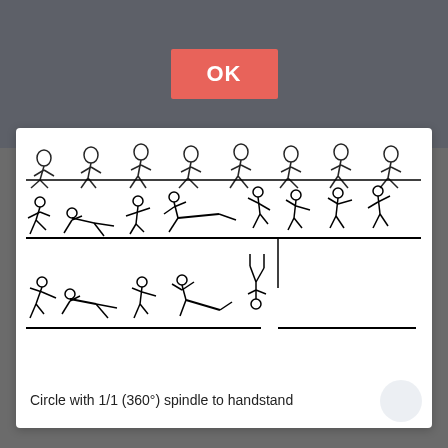[Figure (illustration): OK button (red/salmon colored button with white text 'OK') on a dark gray background, part of a mobile app interface]
[Figure (illustration): Sequential stick-figure illustrations showing gymnastics movements: three rows of figures demonstrating a circle with 1/1 (360°) spindle to handstand technique]
Circle with 1/1 (360°) spindle to handstand